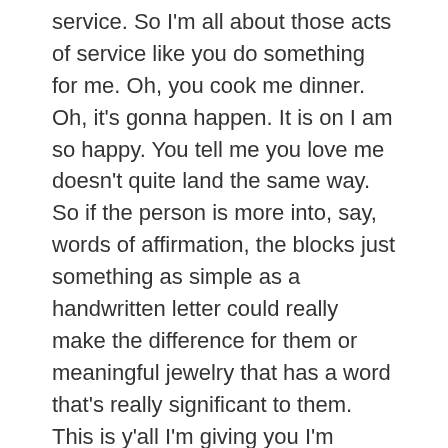service. So I'm all about those acts of service like you do something for me. Oh, you cook me dinner. Oh, it's gonna happen. It is on I am so happy. You tell me you love me doesn't quite land the same way. So if the person is more into, say, words of affirmation, the blocks just something as simple as a handwritten letter could really make the difference for them or meaningful jewelry that has a word that's really significant to them. This is y'all I'm giving you I'm giving you this is golden. If you are shopping for someone, and you know their love language, check out the dates and mates.com blog because we will link to this and you will know exactly what to get your loved one for this holiday season. All right, my science nerds dating news.com has come through for us they did a roundup of all of the studies from 2020 on love. First of all, I pride myself on being on top of all of this for you. And I try to read all the studies that